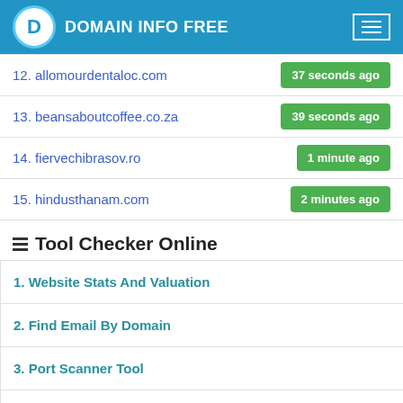DOMAIN INFO FREE
| Domain | Time |
| --- | --- |
| 12. allomourdentaloc.com | 37 seconds ago |
| 13. beansaboutcoffee.co.za | 39 seconds ago |
| 14. fiervechibrasov.ro | 1 minute ago |
| 15. hindusthanam.com | 2 minutes ago |
Tool Checker Online
1. Website Stats And Valuation
2. Find Email By Domain
3. Port Scanner Tool
4. Ping Domain / IP Online